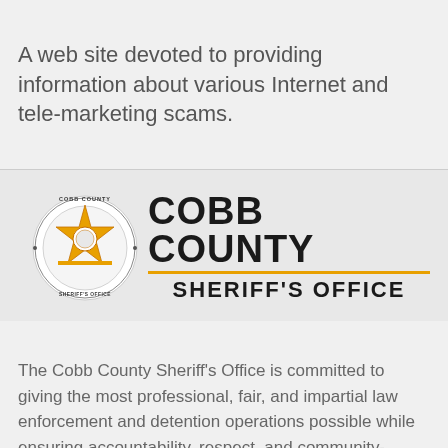A web site devoted to providing information about various Internet and tele-marketing scams.
[Figure (logo): Cobb County Sheriff's Office logo: circular badge on the left with a star, and bold text 'COBB COUNTY' with 'SHERIFF'S OFFICE' below, separated by an orange line.]
The Cobb County Sheriff's Office is committed to giving the most professional, fair, and impartial law enforcement and detention operations possible while ensuring accountability, respect, and community-oriented partnership.